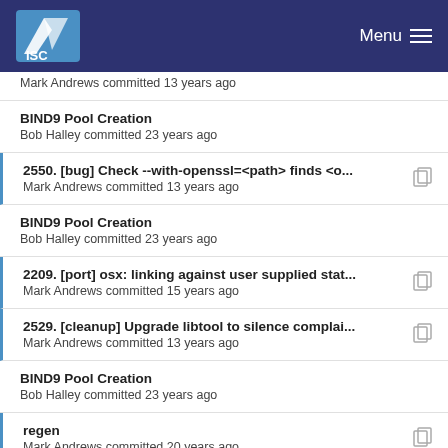ISC | Menu
Mark Andrews committed 13 years ago
BIND9 Pool Creation
Bob Halley committed 23 years ago
2550. [bug] Check --with-openssl=<path> finds <o...
Mark Andrews committed 13 years ago
BIND9 Pool Creation
Bob Halley committed 23 years ago
2209. [port] osx: linking against user supplied stat...
Mark Andrews committed 15 years ago
2529. [cleanup] Upgrade libtool to silence complai...
Mark Andrews committed 13 years ago
BIND9 Pool Creation
Bob Halley committed 23 years ago
regen
Mark Andrews committed 20 years ago